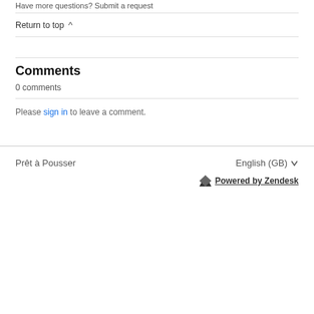Have more questions? Submit a request
Return to top ∧
Comments
0 comments
Please sign in to leave a comment.
Prêt à Pousser   English (GB) ∨   Powered by Zendesk